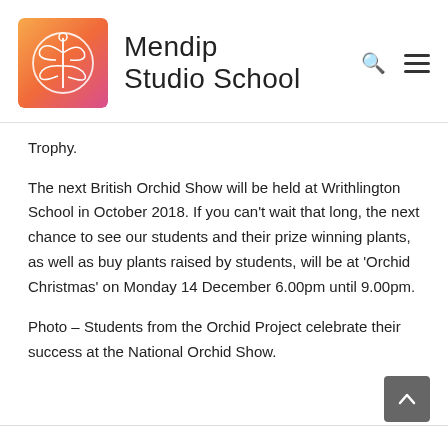[Figure (logo): Mendip Studio School logo — gradient orange-to-pink square with white dragonfly/cross illustration inside a circle]
Mendip Studio School
Trophy.
The next British Orchid Show will be held at Writhlington School in October 2018. If you can't wait that long, the next chance to see our students and their prize winning plants, as well as buy plants raised by students, will be at 'Orchid Christmas' on Monday 14 December 6.00pm until 9.00pm.
Photo – Students from the Orchid Project celebrate their success at the National Orchid Show.